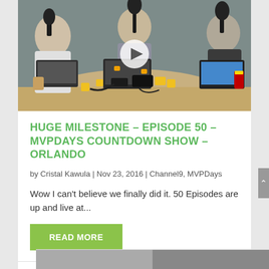[Figure (photo): Video thumbnail showing people around a podcast recording table with microphones, laptops, and equipment. A play button overlay is visible in the center.]
HUGE MILESTONE – EPISODE 50 – MVPDAYS COUNTDOWN SHOW – ORLANDO
by Cristal Kawula | Nov 23, 2016 | Channel9, MVPDays
Wow I can't believe we finally did it. 50 Episodes are up and live at...
READ MORE